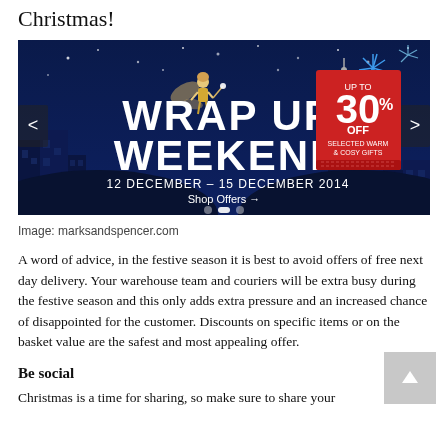Christmas!
[Figure (illustration): Marks & Spencer 'Wrap Up Weekend' promotional banner with dark blue night-sky background showing a fairy figure, city silhouette, fireworks, and a red tag reading 'UP TO 30% OFF SELECTED WARM & COSY GIFTS'. Text reads 'WRAP UP WEEKEND 12 DECEMBER – 15 DECEMBER 2014'. Navigation arrows on sides, 'Shop Offers →' link at bottom center.]
Image: marksandspencer.com
A word of advice, in the festive season it is best to avoid offers of free next day delivery. Your warehouse team and couriers will be extra busy during the festive season and this only adds extra pressure and an increased chance of disappointed for the customer. Discounts on specific items or on the basket value are the safest and most appealing offer.
Be social
Christmas is a time for sharing, so make sure to share your